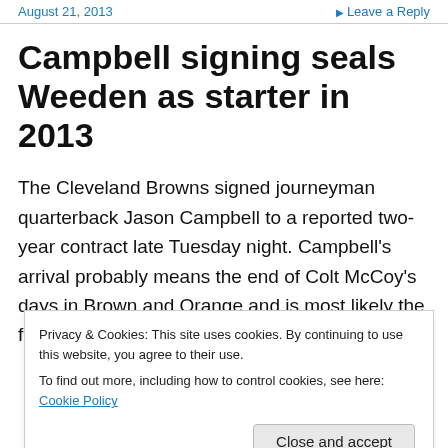August 21, 2013 | Leave a Reply
Campbell signing seals Weeden as starter in 2013
The Cleveland Browns signed journeyman quarterback Jason Campbell to a reported two-year contract late Tuesday night. Campbell's arrival probably means the end of Colt McCoy's days in Brown and Orange and is most likely the final move to solidify the Brandon Weeden in 2013…
Privacy & Cookies: This site uses cookies. By continuing to use this website, you agree to their use.
To find out more, including how to control cookies, see here: Cookie Policy
Close and accept